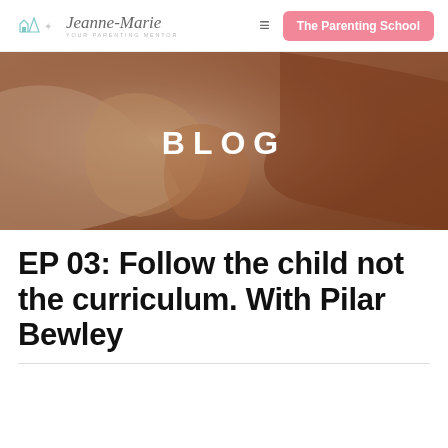Jeanne-Marie Your Parenting Mentor | The Parenting School
[Figure (photo): Sepia-toned photo of hands gently cradling/touching, used as hero banner background with 'BLOG' text overlay]
EP 03: Follow the child not the curriculum. With Pilar Bewley